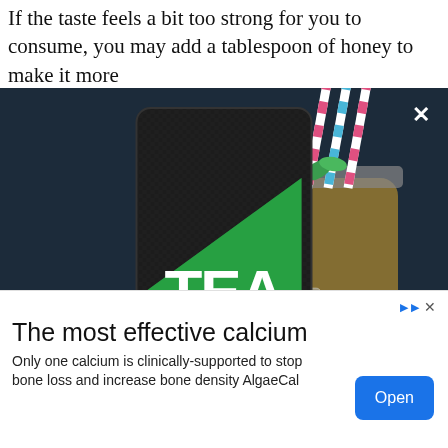If the taste feels a bit too strong for you to consume, you may add a tablespoon of honey to make it more digestible.
[Figure (photo): Tea Burn product advertisement overlay showing a Tea Burn supplement package in center, a glass tea cup on the left, and a mason jar with iced tea and striped straws on the right, against a dark blue background. A pink 'Watch Video' button appears at the bottom of the overlay.]
[Figure (photo): Advertisement banner at the bottom of the page: 'The most effective calcium' with body text 'Only one calcium is clinically-supported to stop bone loss and increase bone density AlgaeCal' and a blue 'Open' button on the right.]